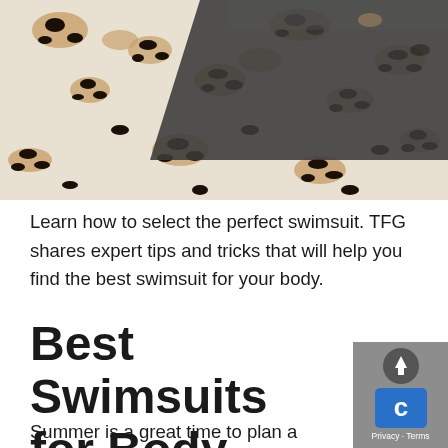[Figure (photo): Close-up of a leopard print swimsuit with a dark gray/black mesh cutout panel across the middle]
Learn how to select the perfect swimsuit. TFG shares expert tips and tricks that will help you find the best swimsuit for your body.
Best Swimsuits for Body Type
Summer is a great time to plan a vacation. It